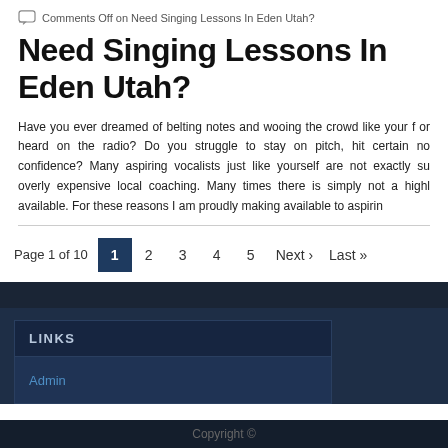Comments Off on Need Singing Lessons In Eden Utah?
Need Singing Lessons In Eden Utah?
Have you ever dreamed of belting notes and wooing the crowd like your f or heard on the radio? Do you struggle to stay on pitch, hit certain no confidence? Many aspiring vocalists just like yourself are not exactly su overly expensive local coaching. Many times there is simply not a highl available. For these reasons I am proudly making available to aspirin
Page 1 of 10  1  2  3  4  5  Next ›  Last »
LINKS
Admin
Copyright ©